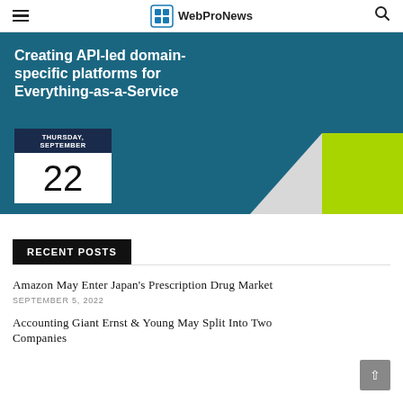WebProNews
[Figure (illustration): WebProNews banner for webinar: 'Creating API-led domain-specific platforms for Everything-as-a-Service' on Thursday, September 22. Teal background with calendar showing date 22, gray and green geometric shapes.]
RECENT POSTS
Amazon May Enter Japan's Prescription Drug Market
SEPTEMBER 5, 2022
Accounting Giant Ernst & Young May Split Into Two Companies